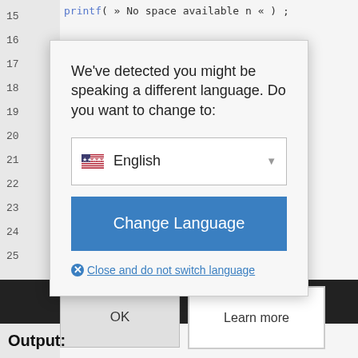[Figure (screenshot): Code editor background showing line numbers 15-28 and a printf statement]
[Figure (screenshot): Modal dialog on top of code editor asking user to change language, with English dropdown, Change Language button, and Close link]
We've detected you might be speaking a different language. Do you want to change to:
English
Change Language
Close and do not switch language
OK
Learn more
Output: